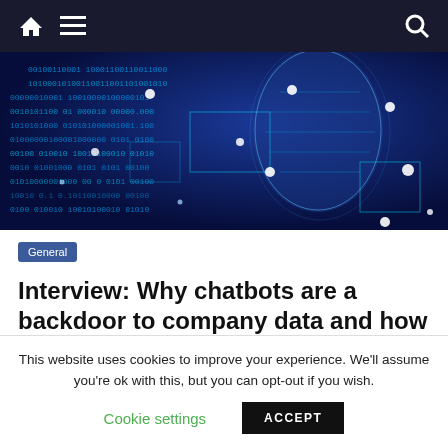Navigation bar with home, menu, and search icons
[Figure (illustration): Digital AI/cybersecurity themed hero image showing a human face made of binary code (0s and 1s) overlaid with glowing circuit-board patterns and blue network nodes on a dark blue background]
General
Interview: Why chatbots are a backdoor to company data and how to protect them
This website uses cookies to improve your experience. We'll assume you're ok with this, but you can opt-out if you wish.
Cookie settings   ACCEPT